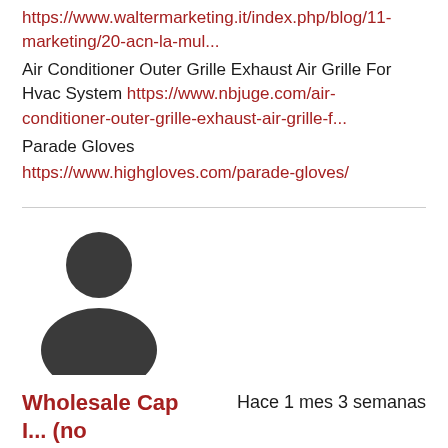https://www.waltermarketing.it/index.php/blog/11-marketing/20-acn-la-mul...
Air Conditioner Outer Grille Exhaust Air Grille For Hvac System https://www.nbjuge.com/air-conditioner-outer-grille-exhaust-air-grille-f...
Parade Gloves
https://www.highgloves.com/parade-gloves/
[Figure (illustration): Generic user/person silhouette icon in dark grey]
Wholesale Cap I... (no verificado)    Hace 1 mes 3 semanas
Dirty Water Submersible Pump